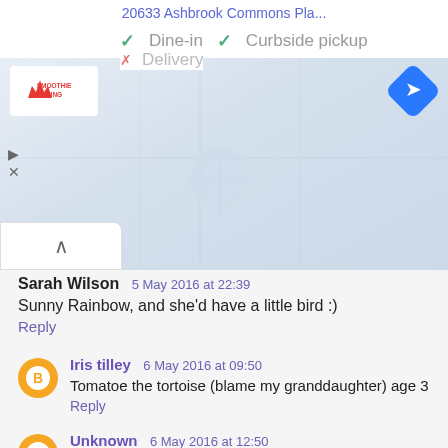20633 Ashbrook Commons Pla...
✓ Dine-in  ✓ Curbside pickup  ✗ Delivery
[Figure (screenshot): Map background with Smoothie King logo and navigation arrow]
Sarah Wilson  5 May 2016 at 22:39
Sunny Rainbow, and she'd have a little bird :)
Reply
Iris tilley  6 May 2016 at 09:50
Tomatoe the tortoise (blame my granddaughter) age 3
Reply
Unknown  6 May 2016 at 12:50
Rasberry Ruru with a parrot :)
Reply